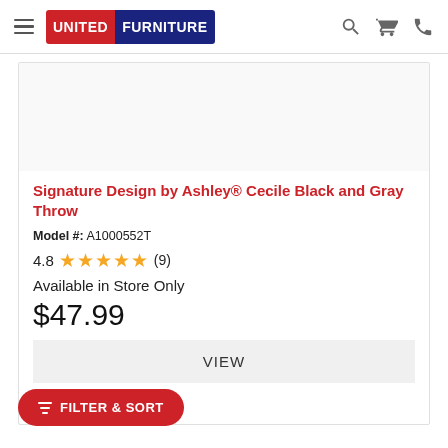United Furniture
Signature Design by Ashley® Cecile Black and Gray Throw
Model #: A1000552T
4.8 ★★★★★ (9)
Available in Store Only
$47.99
VIEW
COMPARE
FILTER & SORT